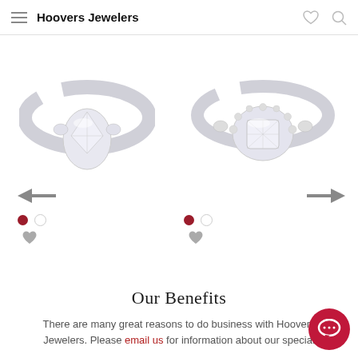Hoovers Jewelers
[Figure (photo): Two diamond engagement rings displayed side by side with navigation arrows and carousel dots below each]
Our Benefits
There are many great reasons to do business with Hoovers Jewelers. Please email us for information about our special